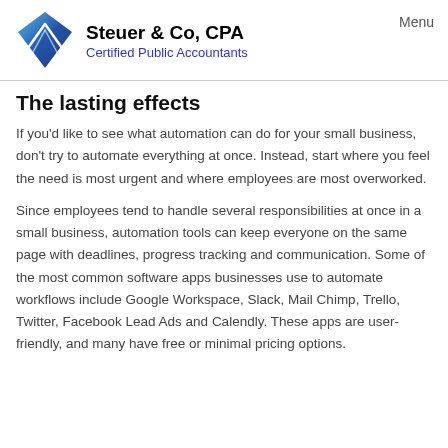Steuer & Co, CPA — Certified Public Accountants — Menu
The lasting effects
If you'd like to see what automation can do for your small business, don't try to automate everything at once. Instead, start where you feel the need is most urgent and where employees are most overworked.
Since employees tend to handle several responsibilities at once in a small business, automation tools can keep everyone on the same page with deadlines, progress tracking and communication. Some of the most common software apps businesses use to automate workflows include Google Workspace, Slack, Mail Chimp, Trello, Twitter, Facebook Lead Ads and Calendly. These apps are user-friendly, and many have free or minimal pricing options.